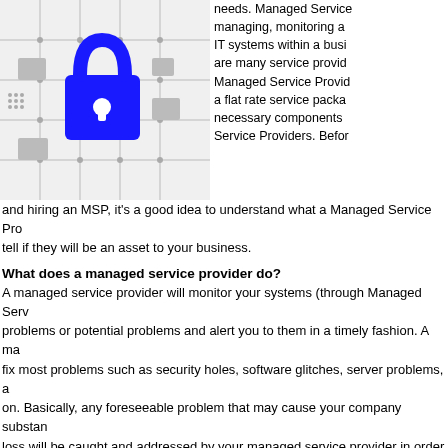[Figure (illustration): A blue padlock icon overlaid on a grey circuit board pattern background, representing cybersecurity or IT managed services.]
needs. Managed Service managing, monitoring and IT systems within a business are many service providers Managed Service Provider a flat rate service package necessary components Service Providers. Before and hiring an MSP, it's a good idea to understand what a Managed Service Provider can tell if they will be an asset to your business.
What does a managed service provider do?
A managed service provider will monitor your systems (through Managed Service problems or potential problems and alert you to them in a timely fashion. A managed service provider will fix most problems such as security holes, software glitches, server problems, and so on. Basically, any foreseeable problem that may cause your company substantial time or financial loss will be caught and addressed by your managed service provider in order to keep your business running smoothly, with little to no downtime.
What should I keep in mind when hiring a managed service provider?
A few things you might want to consider when hiring a Managed Service Provider
• Do they have a proven track record?